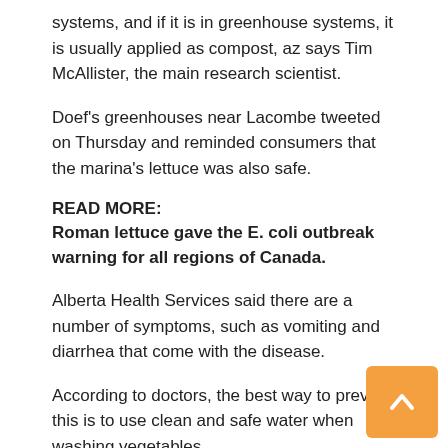systems, and if it is in greenhouse systems, it is usually applied as compost, az says Tim McAllister, the main research scientist.
Doef's greenhouses near Lacombe tweeted on Thursday and reminded consumers that the marina's lettuce was also safe.
READ MORE:
Roman lettuce gave the E. coli outbreak warning for all regions of Canada.
Alberta Health Services said there are a number of symptoms, such as vomiting and diarrhea that come with the disease.
According to doctors, the best way to prevent this is to use clean and safe water when washing vegetables.
All Leaf spent $ 60 million in the greenhouse in June 2017.
"We tried to establish a facility that would allow people to have salad products for 12 months," said Kosaka.